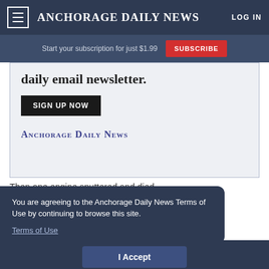Anchorage Daily News | LOG IN
Start your subscription for just $1.99 SUBSCRIBE
[Figure (screenshot): Anchorage Daily News newsletter advertisement box with 'daily email newsletter.' headline, SIGN UP NOW button, and Anchorage Daily News logo]
Then one engine sputtered and died
You are agreeing to the Anchorage Daily News Terms of Use by continuing to browse this site. Terms of Use
I Accept